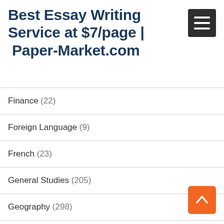Best Essay Writing Service at $7/page | Paper-Market.com
Finance (22)
Foreign Language (9)
French (23)
General Studies (205)
Geography (298)
Health (22)
History (12)
Housing (3)
Human Resources (12)
Information Systems (4)